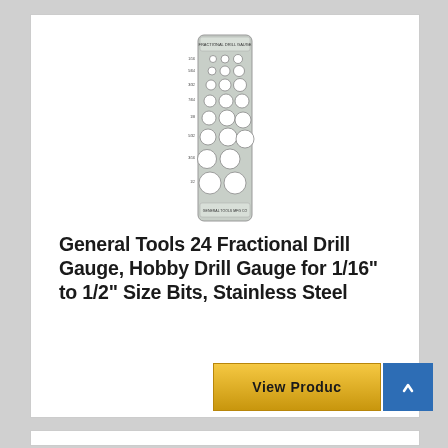[Figure (photo): A stainless steel fractional drill gauge, tall and narrow, with multiple circular holes of varying sizes arranged in rows down its length, labeled with size markings.]
General Tools 24 Fractional Drill Gauge, Hobby Drill Gauge for 1/16" to 1/2" Size Bits, Stainless Steel